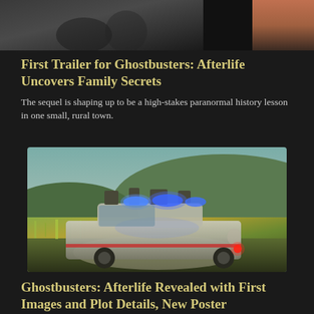[Figure (photo): Dark photo strip showing people in dim lighting, cropped at top]
First Trailer for Ghostbusters: Afterlife Uncovers Family Secrets
The sequel is shaping up to be a high-stakes paranormal history lesson in one small, rural town.
[Figure (photo): The Ecto-1 car from Ghostbusters: Afterlife driving through a rural field with blue lights on top]
Ghostbusters: Afterlife Revealed with First Images and Plot Details, New Poster